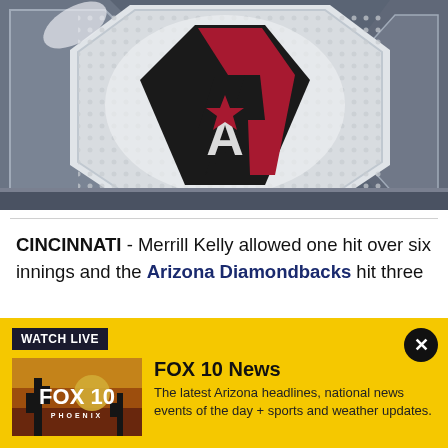[Figure (photo): Arizona Diamondbacks logo on a hexagonal backlit display panel with chrome metallic framing, shot from below]
CINCINNATI - Merrill Kelly allowed one hit over six innings and the Arizona Diamondbacks hit three
[Figure (screenshot): Watch Live banner with FOX 10 News promo: thumbnail showing FOX 10 Phoenix logo over a sunset desert scene, with text: FOX 10 News — The latest Arizona headlines, national news events of the day + sports and weather updates.]